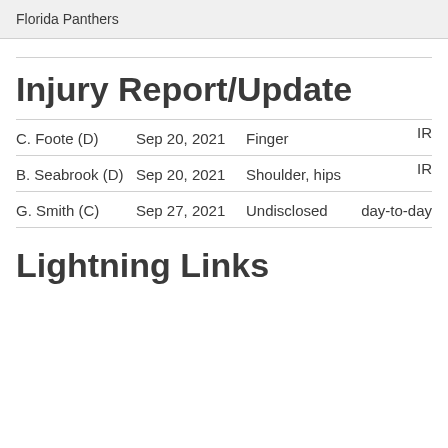Florida Panthers
Injury Report/Update
| Player | Date | Injury | Status |
| --- | --- | --- | --- |
| C. Foote (D) | Sep 20, 2021 | Finger | IR |
| B. Seabrook (D) | Sep 20, 2021 | Shoulder, hips | IR |
| G. Smith (C) | Sep 27, 2021 | Undisclosed | day-to-day |
Lightning Links